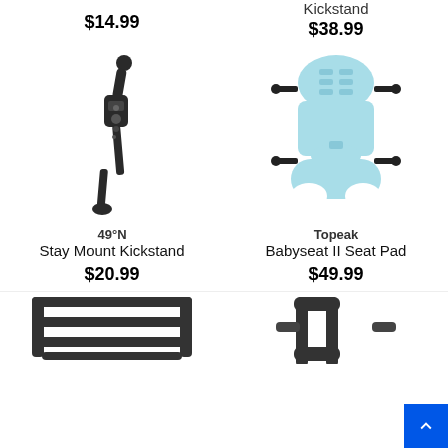$14.99
Kickstand
$38.99
[Figure (photo): 49°N Stay Mount Kickstand - a black adjustable bicycle kickstand]
[Figure (photo): Topeak Babyseat II Seat Pad - a light blue padded child bicycle seat cushion with attachment bolts]
49°N
Stay Mount Kickstand
$20.99
Topeak
Babyseat II Seat Pad
$49.99
[Figure (photo): Partial view of a black bicycle rack at bottom left]
[Figure (photo): Partial view of a black bicycle accessory at bottom right]